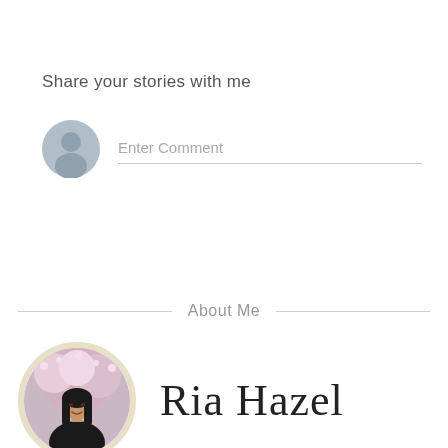Share your stories with me
[Figure (illustration): Gray circular avatar/user placeholder icon]
Enter Comment
About Me
[Figure (photo): Circular profile photo of Ria Hazel, a young woman with long dark hair, standing in front of cherry blossom trees, with a warm beige/cream circular border]
Ria Hazel